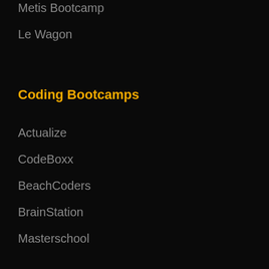Metis Bootcamp
Le Wagon
Coding Bootcamps
Actualize
CodeBoxx
BeachCoders
BrainStation
Masterschool
Online Bootcamps
BrainStation
Design Lab
Thinkful